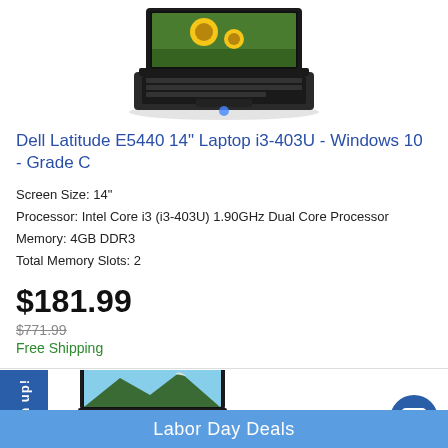[Figure (photo): Black Dell Latitude laptop computer viewed from above at an angle, showing keyboard and screen with colorful image]
Dell Latitude E5440 14" Laptop i3-403U - Windows 10 - Grade C
Screen Size: 14"
Processor: Intel Core i3 (i3-403U) 1.90GHz Dual Core Processor
Memory: 4GB DDR3
Total Memory Slots: 2
$181.99
$771.99
Free Shipping
[Figure (screenshot): Bottom section showing a second laptop product listing with Sign up tab, laptop image, Labor Day Deals banner, and chat button]